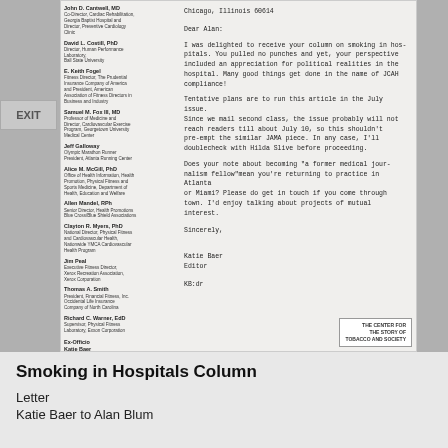[Figure (photo): Scanned letter on letterhead showing staff list on left sidebar and body of letter on right, with The Center for the Story of Tobacco and Society watermark at bottom right of document image]
Smoking in Hospitals Column
Letter
Katie Baer to Alan Blum